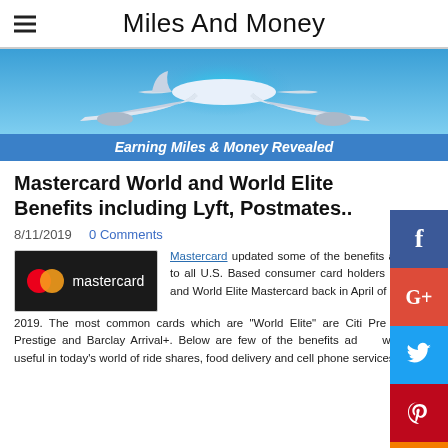Miles And Money
[Figure (illustration): Banner image of a white commercial airplane on a blue background with glowing aura effect. Text below reads 'Earning Miles & Money Revealed']
Mastercard World and World Elite Benefits including Lyft, Postmates..
8/11/2019   0 Comments
[Figure (logo): Mastercard logo on black background with red and orange overlapping circles and white 'mastercard' text]
Mastercard updated some of the benefits available to all U.S. Based consumer card holders of World and World Elite Mastercard back in April of 2019. The most common cards which are "World Elite" are Citi Premier, Citi Prestige and Barclay Arrival+. Below are few of the benefits added which are useful in today's world of ride shares, food delivery and cell phone services.